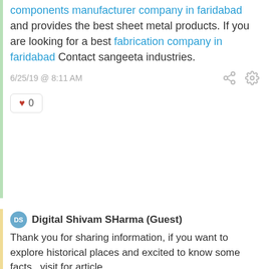components manufacturer company in faridabad and provides the best sheet metal products. If you are looking for a best fabrication company in faridabad Contact sangeeta industries.
6/25/19 @ 8:11 AM
♥ 0
Digital Shivam SHarma (Guest)
Thank you for sharing information, if you want to explore historical places and excited to know some facts.. visit for article
<a href="https://www.digitalshivamsharma.com">
Digital Shivam Sharma </a>
<a